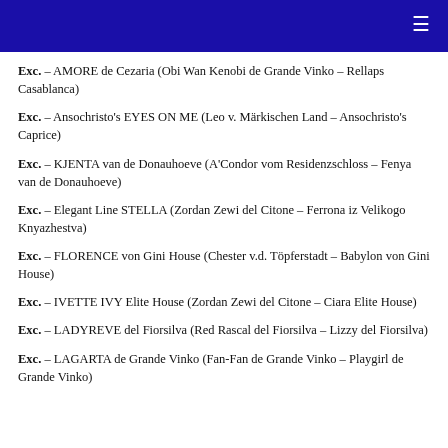Exc. – AMORE de Cezaria (Obi Wan Kenobi de Grande Vinko – Rellaps Casablanca)
Exc. – Ansochristo's EYES ON ME (Leo v. Märkischen Land – Ansochristo's Caprice)
Exc. – KJENTA van de Donauhoeve (A'Condor vom Residenzschloss – Fenya van de Donauhoeve)
Exc. – Elegant Line STELLA (Zordan Zewi del Citone – Ferrona iz Velikogo Knyazhestva)
Exc. – FLORENCE von Gini House (Chester v.d. Töpferstadt – Babylon von Gini House)
Exc. – IVETTE IVY Elite House (Zordan Zewi del Citone – Ciara Elite House)
Exc. – LADYREVE del Fiorsilva (Red Rascal del Fiorsilva – Lizzy del Fiorsilva)
Exc. – LAGARTA de Grande Vinko (Fan-Fan de Grande Vinko – Playgirl de Grande Vinko)